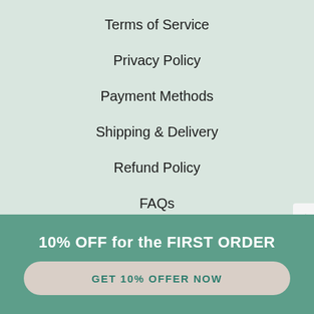Terms of Service
Privacy Policy
Payment Methods
Shipping & Delivery
Refund Policy
FAQs
Contact Us
10% OFF for the FIRST ORDER
GET 10% OFFER NOW